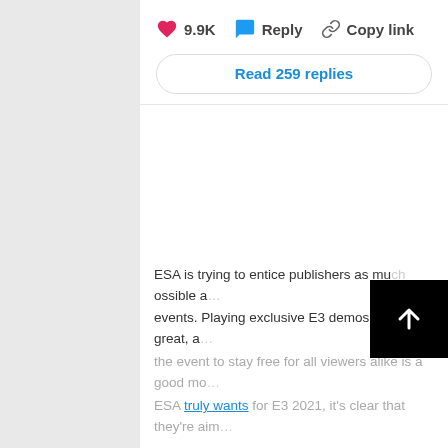[Figure (screenshot): Social media action bar with heart icon showing 9.9K likes, Reply button, and Copy link button]
Read 259 replies
ESA is trying to entice publishers as much as possible a events. Playing exclusive E3 demos does great, a the event to stay free for all viewers alike is a good mo ESA truly wants for E3 2021, it's clear that they're aim